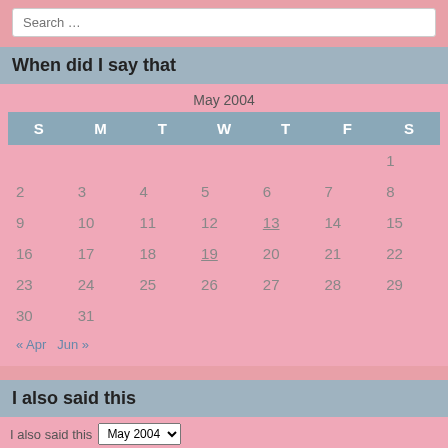Search …
When did I say that
| S | M | T | W | T | F | S |
| --- | --- | --- | --- | --- | --- | --- |
|  |  |  |  |  |  | 1 |
| 2 | 3 | 4 | 5 | 6 | 7 | 8 |
| 9 | 10 | 11 | 12 | 13 | 14 | 15 |
| 16 | 17 | 18 | 19 | 20 | 21 | 22 |
| 23 | 24 | 25 | 26 | 27 | 28 | 29 |
| 30 | 31 |  |  |  |  |  |
« Apr   Jun »
I also said this
I also said this  May 2004